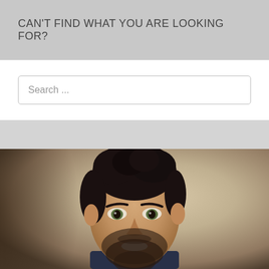CAN'T FIND WHAT YOU ARE LOOKING FOR?
Search ...
[Figure (photo): Professional headshot of a smiling man with dark curly hair, beard, and green eyes wearing a dark plaid shirt, photographed against a neutral beige/tan background with dramatic side lighting.]